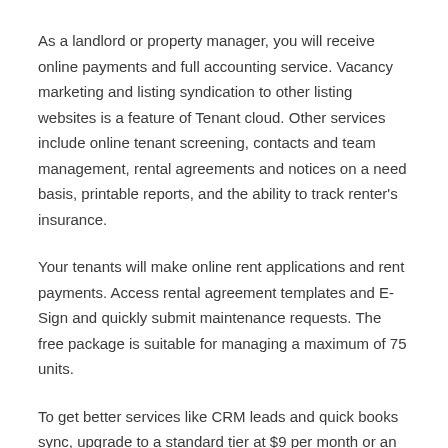As a landlord or property manager, you will receive online payments and full accounting service. Vacancy marketing and listing syndication to other listing websites is a feature of Tenant cloud. Other services include online tenant screening, contacts and team management, rental agreements and notices on a need basis, printable reports, and the ability to track renter's insurance.
Your tenants will make online rent applications and rent payments. Access rental agreement templates and E-Sign and quickly submit maintenance requests. The free package is suitable for managing a maximum of 75 units.
To get better services like CRM leads and quick books sync, upgrade to a standard tier at $9 per month or an advanced package at $35 monthly. Pay annually and enjoy 2 free months.
Check out Tenant Cloud here